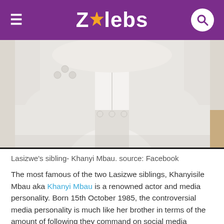ZAlebs
[Figure (photo): Close-up photo of a white suit jacket showing buttons on the sleeve and back vent, with a wooden floor visible in the background.]
Lasizwe's sibling- Khanyi Mbau. source: Facebook
The most famous of the two Lasizwe siblings, Khanyisile Mbau aka Khanyi Mbau is a renowned actor and media personality. Born 15th October 1985, the controversial media personality is much like her brother in terms of the amount of following they command on social media